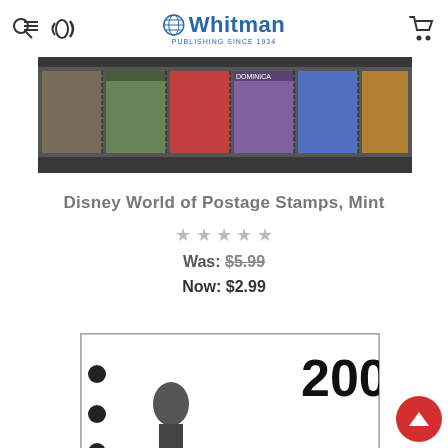Whitman Publishing Since 1934
[Figure (photo): A strip of Disney-themed postage stamps displayed in a row against a dark background]
Disney World of Postage Stamps, Mint
★★★★★ (star rating)
Was: $5.99
Now: $2.99
[Figure (photo): A black and white image of a 2007 book/catalog cover showing a figure, with binder holes on the left side]